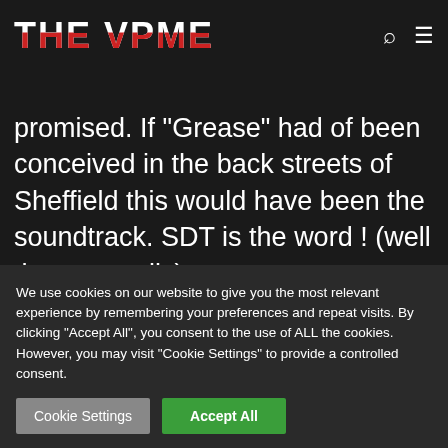THE VPME
promised. If "Grease" had of been conceived in the back streets of Sheffield this would have been the soundtrack. SDT is the word ! (well three actually)
8.5/10
Links
We use cookies on our website to give you the most relevant experience by remembering your preferences and repeat visits. By clicking "Accept All", you consent to the use of ALL the cookies. However, you may visit "Cookie Settings" to provide a controlled consent.